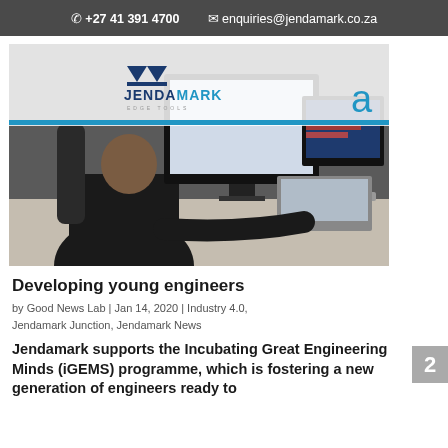📞 +27 41 391 4700   ✉ enquiries@jendamark.co.za
[Figure (photo): Person sitting at a desk working on a laptop with two external monitors; Jendamark logo overlay visible in the top-left of the image.]
Developing young engineers
by Good News Lab | Jan 14, 2020 | Industry 4.0, Jendamark Junction, Jendamark News
Jendamark supports the Incubating Great Engineering Minds (iGEMS) programme, which is fostering a new generation of engineers ready to